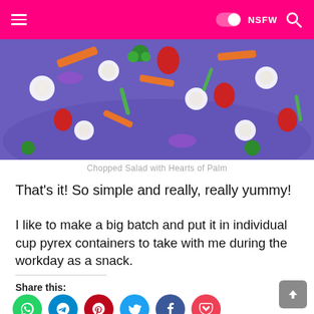Navigation bar with hamburger menu, dark mode toggle, NSFW toggle, and search icon
[Figure (photo): Close-up photo of chopped salad with hearts of palm, strawberries, carrots, broccoli, and other vegetables on a blue plate]
Chopped Salad with Hearts of Palm
That's it! So simple and really, really yummy!
I like to make a big batch and put it in individual cup pyrex containers to take with me during the workday as a snack.
Share this: